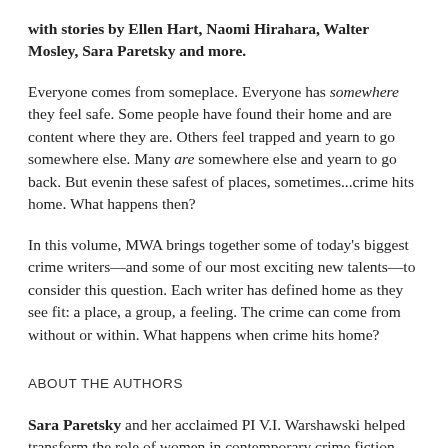with stories by Ellen Hart, Naomi Hirahara, Walter Mosley, Sara Paretsky and more.
Everyone comes from someplace. Everyone has somewhere they feel safe. Some people have found their home and are content where they are. Others feel trapped and yearn to go somewhere else. Many are somewhere else and yearn to go back. But evenin these safest of places, sometimes...crime hits home. What happens then?
In this volume, MWA brings together some of today's biggest crime writers—and some of our most exciting new talents—to consider this question. Each writer has defined home as they see fit: a place, a group, a feeling. The crime can come from without or within. What happens when crime hits home?
ABOUT THE AUTHORS
Sara Paretsky and her acclaimed PI V.I. Warshawski helped transform the role of women in contemporary crime fiction,